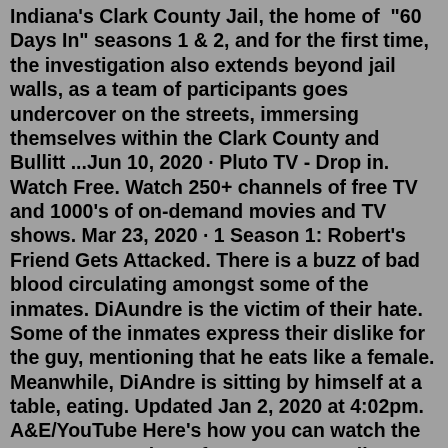Indiana's Clark County Jail, the home of "60 Days In" seasons 1 & 2, and for the first time, the investigation also extends beyond jail walls, as a team of participants goes undercover on the streets, immersing themselves within the Clark County and Bullitt ...Jun 10, 2020 · Pluto TV - Drop in. Watch Free. Watch 250+ channels of free TV and 1000's of on-demand movies and TV shows. Mar 23, 2020 · 1 Season 1: Robert's Friend Gets Attacked. There is a buzz of bad blood circulating amongst some of the inmates. DiAundre is the victim of their hate. Some of the inmates express their dislike for the guy, mentioning that he eats like a female. Meanwhile, DiAndre is sitting by himself at a table, eating. Updated Jan 2, 2020 at 4:02pm. A&E/YouTube Here's how you can watch the Season 6 premiere of "60 Days In" online, without cable. Season 6 of 60 Days In airs Thursday, January 2, 2020 at 10 p.m ...Find out how to watch 60 Days In. Stream the latest seasons and episodes, watch trailers, and more for 60 Days In at TV GuideAudience Reviews for 60 Days In: Season 6.